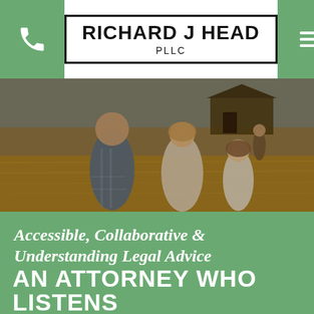RICHARD J HEAD PLLC
[Figure (photo): Family of three walking through a golden wheat field toward a barn in the background, viewed from behind.]
Accessible, Collaborative & Understanding Legal Advice
AN ATTORNEY WHO LISTENS